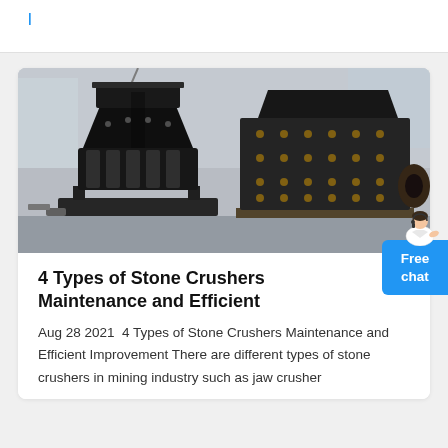[Figure (photo): Two large industrial stone crushers — a cone crusher on the left and a hammer/impact crusher on the right — photographed inside a factory/warehouse setting.]
4 Types of Stone Crushers Maintenance and Efficient
Aug 28 2021  4 Types of Stone Crushers Maintenance and Efficient Improvement There are different types of stone crushers in mining industry such as jaw crusher